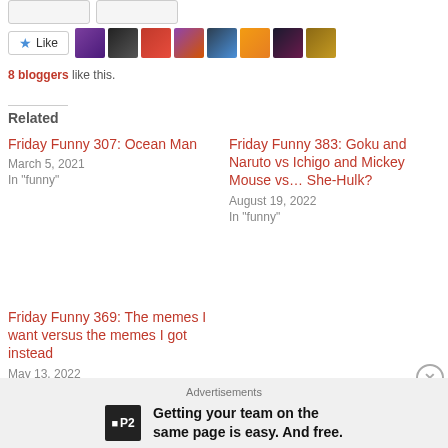8 bloggers like this.
Related
Friday Funny 307: Ocean Man
March 5, 2021
In "funny"
Friday Funny 383: Goku and Naruto vs Ichigo and Mickey Mouse vs… She-Hulk?
August 19, 2022
In "funny"
Friday Funny 369: The memes I want versus the memes I got instead
May 13, 2022
In "funny"
Advertisements
Getting your team on the same page is easy. And free.